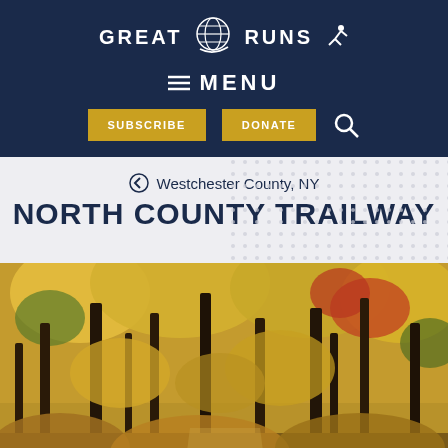GREAT RUNS
MENU
SUBSCRIBE  DONATE
Westchester County, NY
NORTH COUNTY TRAILWAY
[Figure (photo): Autumn forest scene with yellow, orange, and red foliage on tall trees along a trail path]